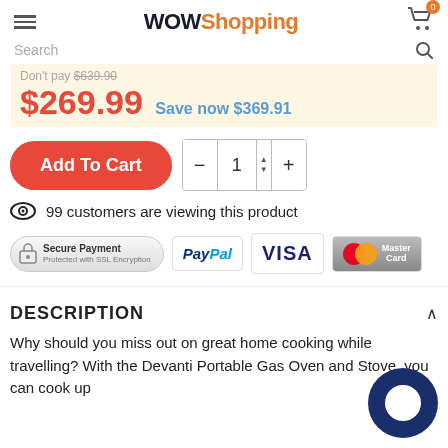WOWShopping
Don't pay $639.90
$269.99 Save now $369.91
Add To Cart
1
99 customers are viewing this product
[Figure (infographic): Payment badges: Secure Payment (SSL), PayPal, VISA, MasterCard]
DESCRIPTION
Why should you miss out on great home cooking while travelling? With the Devanti Portable Gas Oven and Stove, you can cook up